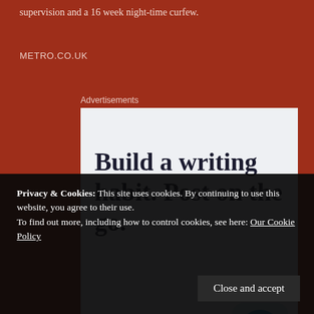supervision and a 16 week night-time curfew.
METRO.CO.UK
Advertisements
[Figure (screenshot): Advertisement for WordPress app: 'Build a writing habit. Post on the go.' with GET THE APP call-to-action and WordPress logo]
Privacy & Cookies: This site uses cookies. By continuing to use this website, you agree to their use.
To find out more, including how to control cookies, see here: Our Cookie Policy
Close and accept